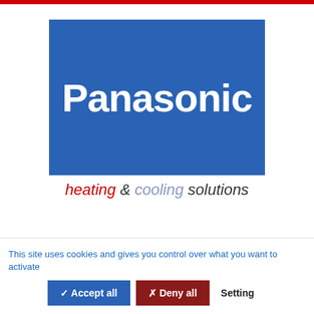[Figure (logo): Panasonic Heating & Cooling Solutions logo. Blue rectangle with white bold 'Panasonic' text, and tagline 'heating & cooling solutions' below in red, grey-blue, and dark grey italic text.]
This site uses cookies and gives you control over what you want to activate
✓ Accept all   ✗ Deny all   Setting